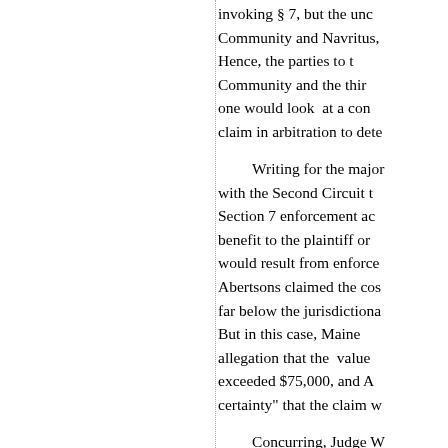invoking § 7, but the unc Community and Navritus, Hence, the parties to t Community and the thir one would look at a con claim in arbitration to dete
Writing for the major with the Second Circuit t Section 7 enforcement ac benefit to the plaintiff or would result from enforce Abertsons claimed the cos far below the jurisdictiona But in this case, Maine allegation that the value exceeded $75,000, and A certainty" that the claim w
Concurring, Judge W very different route. He v